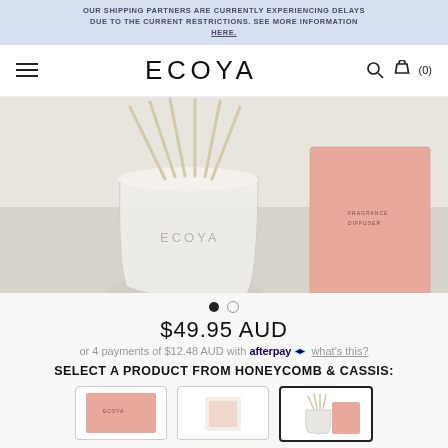OUR SHIPPING PARTNERS ARE CURRENTLY EXPERIENCING DELAYS DUE TO THE CURRENT RESTRICTIONS. SEE MORE INFORMATION HERE.
ECOYA
[Figure (photo): Product photo showing an ECOYA glass diffuser with white/beige reeds and a pink rectangular fragrance diffuser box on a light grey background.]
$49.95 AUD
or 4 payments of $12.48 AUD with afterpay what's this?
SELECT A PRODUCT FROM HONEYCOMB & CASSIS:
[Figure (photo): Three product option thumbnails for Honeycomb & Cassis: a pink box product, a white product, and a reed diffuser (currently selected, shown with black border).]